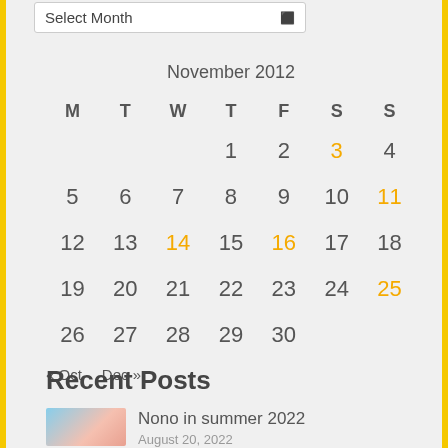Select Month
| M | T | W | T | F | S | S |
| --- | --- | --- | --- | --- | --- | --- |
|  |  |  | 1 | 2 | 3 | 4 |
| 5 | 6 | 7 | 8 | 9 | 10 | 11 |
| 12 | 13 | 14 | 15 | 16 | 17 | 18 |
| 19 | 20 | 21 | 22 | 23 | 24 | 25 |
| 26 | 27 | 28 | 29 | 30 |  |  |
« Oct  Dec »
Recent Posts
Nono in summer 2022
August 20, 2022